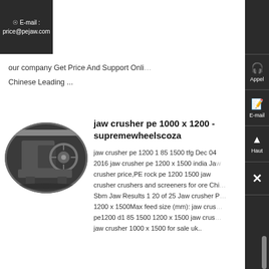E-mail : price@pejaw.com
our company Get Price And Support Online Chinese Leading ...
[Figure (photo): Oval-framed photograph of an industrial jaw crusher machine inside a facility]
jaw crusher pe 1000 x 1200 - supremewheelscoza
jaw crusher pe 1200 1 85 1500 tfg Dec 04 2016 jaw crusher pe 1200 x 1500 india Jaw crusher price,PE rock pe 1200 1500 jaw crusher crushers and screeners for ore Chi Sbm Jaw Results 1 20 of 25 Jaw crusher P 1200 x 1500Max feed size (mm): jaw crus pe1200 d1 85 1500 1200 x 1500 jaw crus jaw crusher 1000 x 1500 for sale uk..